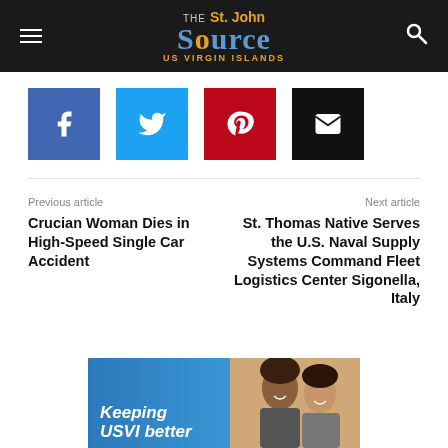The St. John Source — US Virgin Islands
[Figure (other): Social share buttons: Facebook, Twitter, Pinterest, Email]
Previous article
Crucian Woman Dies in High-Speed Single Car Accident
Next article
St. Thomas Native Serves the U.S. Naval Supply Systems Command Fleet Logistics Center Sigonella, Italy
[Figure (other): Advertisement banner: Keeping USVI better — shows two women smiling]